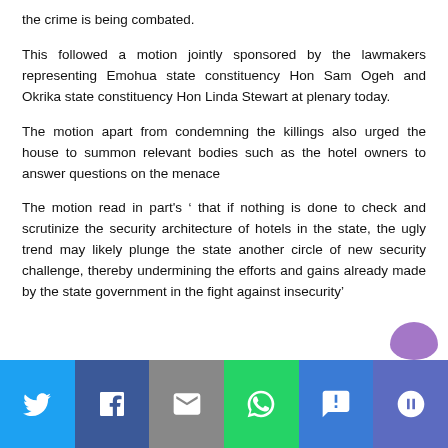the crime is being combated.
This followed a motion jointly sponsored by the lawmakers representing Emohua state constituency Hon Sam Ogeh and Okrika state constituency Hon Linda Stewart at plenary today.
The motion apart from condemning the killings also urged the house to summon relevant bodies such as the hotel owners to answer questions on the menace
The motion read in part's ‘ that if nothing is done to check and scrutinize the security architecture of hotels in the state, the ugly trend may likely plunge the state another circle of new security challenge, thereby undermining the efforts and gains already made by the state government in the fight against insecurity’